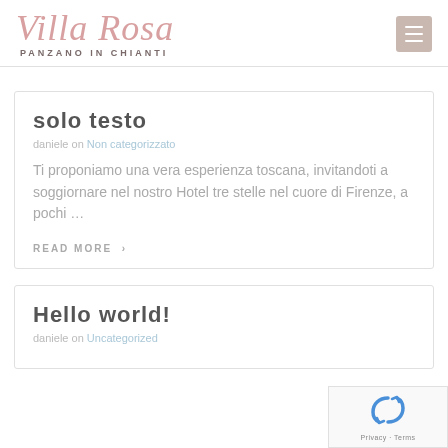Villa Rosa – Panzano in Chianti
solo testo
daniele on Non categorizzato
Ti proponiamo una vera esperienza toscana, invitandoti a soggiornare nel nostro Hotel tre stelle nel cuore di Firenze, a pochi …
READ MORE ›
Hello world!
daniele on Uncategorized